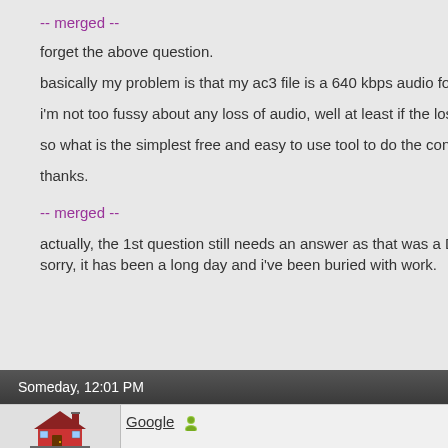-- merged --
forget the above question.
basically my problem is that my ac3 file is a 640 kbps audio format. and i need
i'm not too fussy about any loss of audio, well at least if the loss is minimal / ne
so what is the simplest free and easy to use tool to do the conversion / re-enc
thanks.
-- merged --
actually, the 1st question still needs an answer as that was a DTS file!
sorry, it has been a long day and i've been buried with work.
Someday, 12:01 PM
Google